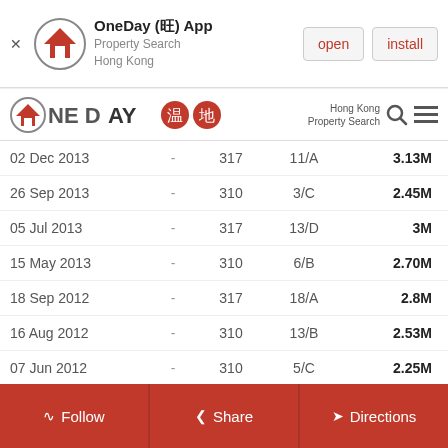[Figure (screenshot): App install banner for OneDay (旺) App - Property Search Hong Kong with open and install buttons]
[Figure (logo): OneDay 温地 Hong Kong Property Search logo with navigation icons]
| Date |  | Size | Unit | Price |
| --- | --- | --- | --- | --- |
| 02 Dec 2013 | - | 317 | 11/A | 3.13M |
| 26 Sep 2013 | - | 310 | 3/C | 2.45M |
| 05 Jul 2013 | - | 317 | 13/D | 3M |
| 15 May 2013 | - | 310 | 6/B | 2.70M |
| 18 Sep 2012 | - | 317 | 18/A | 2.8M |
| 16 Aug 2012 | - | 310 | 13/B | 2.53M |
| 07 Jun 2012 | - | 310 | 5/C | 2.25M |
| 25 May 2012 | - | 317 | 12/A | 2.6M |
| 17 May 2012 | - | 310 | 4/B | 2.18M |
| 07 May 2012 | - | 915 | G/2 | 20.2M |
[Figure (screenshot): Footer with Follow, Share, and Directions buttons in red]